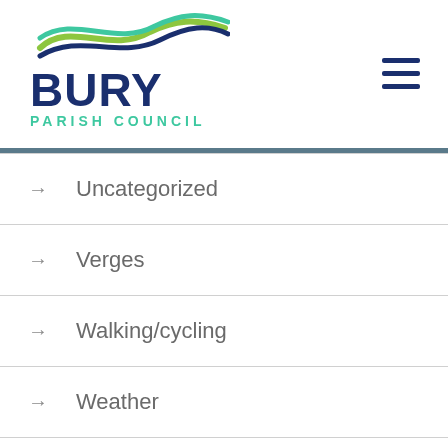[Figure (logo): Bury Parish Council logo with wave graphic in green and blue, bold dark blue BURY text, and teal PARISH COUNCIL text below]
Uncategorized
Verges
Walking/cycling
Weather
West Burton